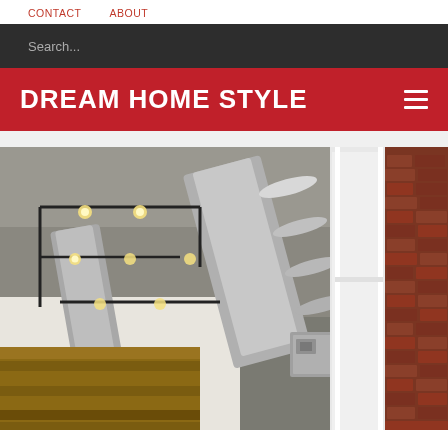CONTACT   ABOUT
Search...
DREAM HOME STYLE
[Figure (photo): Interior industrial-style space showing exposed concrete ceiling with large silver HVAC ductwork running diagonally, black pipe track lighting with Edison bulbs, wood panel accent wall in lower section, white-framed tall windows, and exposed red brick wall on the right side.]